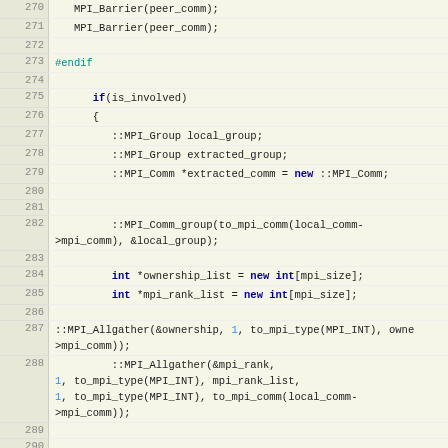[Figure (screenshot): Source code listing in C++ showing MPI communication routines, lines 270-297. Features line numbers in left gutter on beige/tan background, with syntax highlighting: keywords in dark blue bold, numeric literals in blue, preprocessor directives in teal. Code includes MPI_Barrier, #endif, if(is_involved) block with MPI_Group and MPI_Comm declarations, MPI_Comm_group, MPI_Allgather calls, and a for loop.]